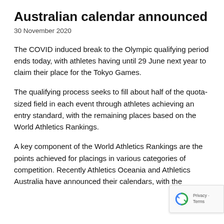Australian calendar announced
30 November 2020
The COVID induced break to the Olympic qualifying period ends today, with athletes having until 29 June next year to claim their place for the Tokyo Games.
The qualifying process seeks to fill about half of the quota-sized field in each event through athletes achieving an entry standard, with the remaining places based on the World Athletics Rankings.
A key component of the World Athletics Rankings are the points achieved for placings in various categories of competition. Recently Athletics Oceania and Athletics Australia have announced their calendars, with the